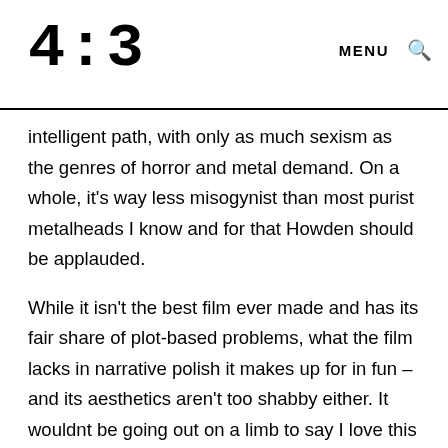4:3  MENU 🔍
intelligent path, with only as much sexism as the genres of horror and metal demand. On a whole, it's way less misogynist than most purist metalheads I know and for that Howden should be applauded.
While it isn't the best film ever made and has its fair share of plot-based problems, what the film lacks in narrative polish it makes up for in fun – and its aesthetics aren't too shabby either. It wouldnt be going out on a limb to say I love this film, and while this isn't going to be for everyone, its crossover audience will be fairly large considering its potentially exclusionary content. I'd go out and see this with a big audience while you can: the sold out opening session was a heap of fun and this is going to play much better with a big audience who 'gets it' than it will on home video. In